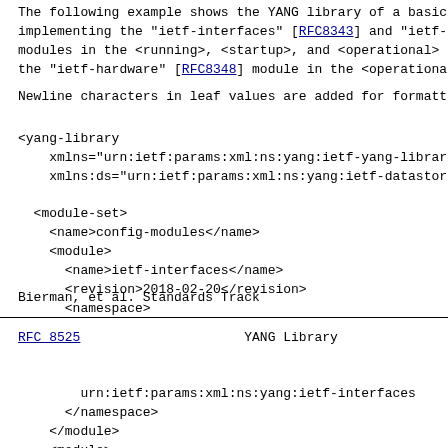The following example shows the YANG library of a basic implementing the "ietf-interfaces" [RFC8343] and "ietf- modules in the <running>, <startup>, and <operational> the "ietf-hardware" [RFC8348] module in the <operationa
Newline characters in leaf values are added for formatt
<yang-library
    xmlns="urn:ietf:params:xml:ns:yang:ietf-yang-librar
    xmlns:ds="urn:ietf:params:xml:ns:yang:ietf-datastor

  <module-set>
    <name>config-modules</name>
    <module>
      <name>ietf-interfaces</name>
      <revision>2018-02-20</revision>
      <namespace>
Bierman, et al.                Standards Track
RFC 8525                    YANG Library
urn:ietf:params:xml:ns:yang:ietf-interfaces
      </namespace>
    </module>
    <module>
      <name>ietf-in</name>